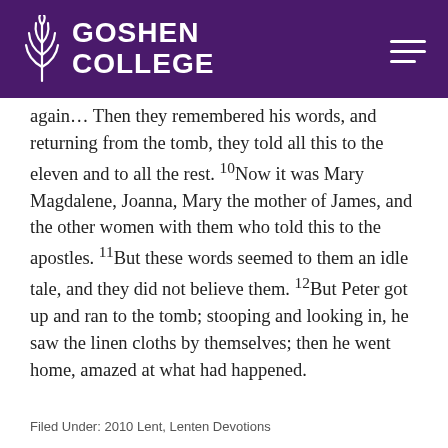GOSHEN COLLEGE
again… Then they remembered his words, and returning from the tomb, they told all this to the eleven and to all the rest. 10Now it was Mary Magdalene, Joanna, Mary the mother of James, and the other women with them who told this to the apostles. 11But these words seemed to them an idle tale, and they did not believe them. 12But Peter got up and ran to the tomb; stooping and looking in, he saw the linen cloths by themselves; then he went home, amazed at what had happened.
Filed Under: 2010 Lent, Lenten Devotions